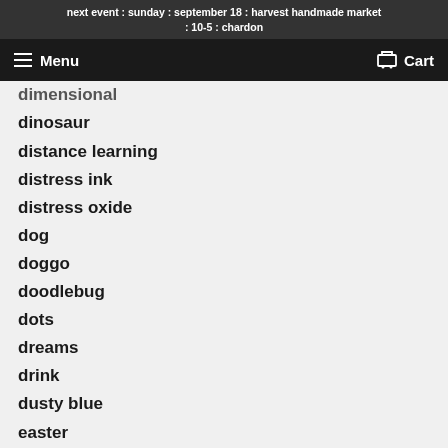next event : sunday : september 18 : harvest handmade market : 10-5 : chardon
Menu  Cart
dimensional
dinosaur
distance learning
distress ink
distress oxide
dog
doggo
doodlebug
dots
dreams
drink
dusty blue
easter
echo park
elephant